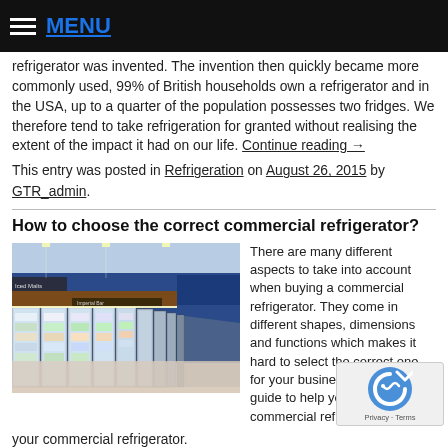MENU
refrigerator was invented. The invention then quickly became more commonly used, 99% of British households own a refrigerator and in the USA, up to a quarter of the population possesses two fridges. We therefore tend to take refrigeration for granted without realising the extent of the impact it had on our life. Continue reading →
This entry was posted in Refrigeration on August 26, 2015 by GTR_admin.
How to choose the correct commercial refrigerator?
[Figure (photo): Row of commercial glass-door refrigerators in a supermarket aisle, stocked with beverages and food items. Store signage visible including 'Iced Malts' and 'Imperial Bar'.]
There are many different aspects to take into account when buying a commercial refrigerator. They come in different shapes, dimensions and functions which makes it hard to select the correct one for your business. Here is a little guide to help you choose your commercial refrigerator.
Continue reading →